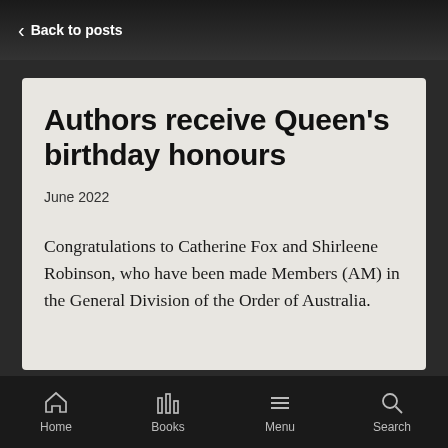Back to posts
Authors receive Queen's birthday honours
June 2022
Congratulations to Catherine Fox and Shirleene Robinson, who have been made Members (AM) in the General Division of the Order of Australia.
Home  Books  Menu  Search